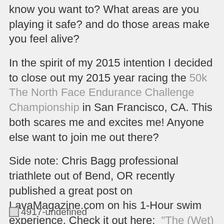know you want to? What areas are you playing it safe? and do those areas make you feel alive?
In the spirit of my 2015 intention I decided to close out my 2015 year racing the 50k The North Face Endurance Challenge Championship in San Francisco, CA. This both scares me and excites me! Anyone else want to join me out there?
Side note: Chris Bagg professional triathlete out of Bend, OR recently published a great post on LavaMagazine.com on his 1-Hour swim experience. Check it out here: “The (Wet) Hour Record”
[Figure (other): Broken image placeholder labeled '4917-undefined']